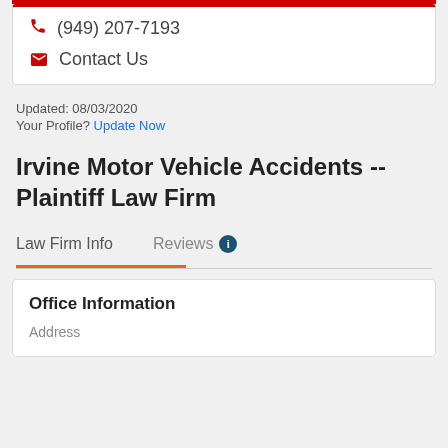(949) 207-7193
Contact Us
Updated: 08/03/2020
Your Profile? Update Now
Irvine Motor Vehicle Accidents -- Plaintiff Law Firm
Law Firm Info
Reviews
Office Information
Address